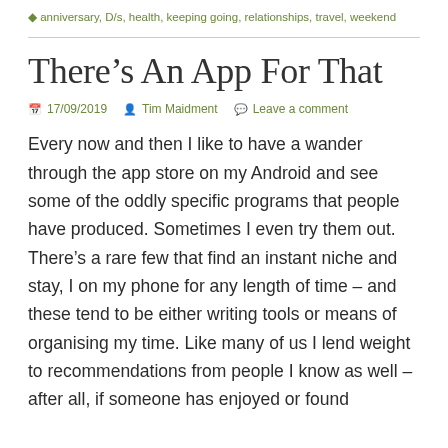anniversary, D/s, health, keeping going, relationships, travel, weekend
There’s An App For That
17/09/2019  Tim Maidment  Leave a comment
Every now and then I like to have a wander through the app store on my Android and see some of the oddly specific programs that people have produced. Sometimes I even try them out. There’s a rare few that find an instant niche and stay, I on my phone for any length of time – and these tend to be either writing tools or means of organising my time. Like many of us I lend weight to recommendations from people I know as well – after all, if someone has enjoyed or found